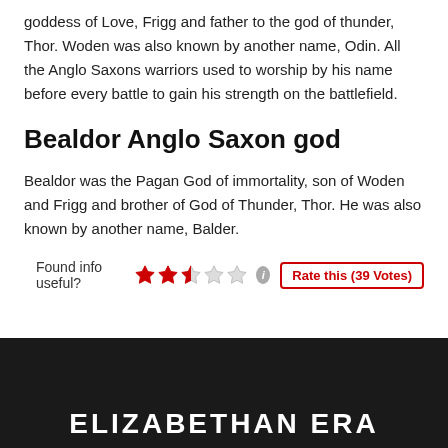goddess of Love, Frigg and father to the god of thunder, Thor. Woden was also known by another name, Odin. All the Anglo Saxons warriors used to worship by his name before every battle to gain his strength on the battlefield.
Bealdor Anglo Saxon god
Bealdor was the Pagan God of immortality, son of Woden and Frigg and brother of God of Thunder, Thor. He was also known by another name, Balder.
Found info useful? ★★★☆☆ ⓘ Rate this (39 Votes)
ELIZABETHAN ERA